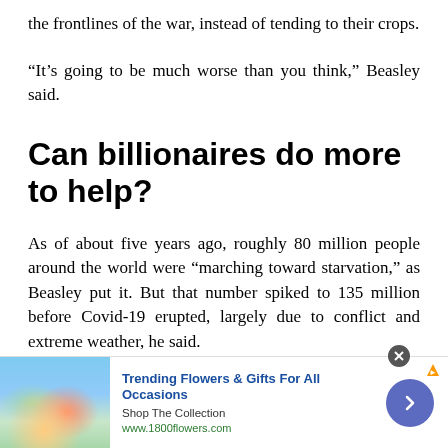the frontlines of the war, instead of tending to their crops.
“It’s going to be much worse than you think,” Beasley said.
Can billionaires do more to help?
As of about five years ago, roughly 80 million people around the world were “marching toward starvation,” as Beasley put it. But that number spiked to 135 million before Covid-19 erupted, largely due to conflict and extreme weather, he said.
[Figure (infographic): Advertisement banner for 1800flowers.com featuring a woman holding flowers, with text 'Trending Flowers & Gifts For All Occasions', 'Shop The Collection', 'www.1800flowers.com', and a blue arrow button.]